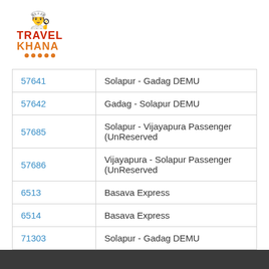[Figure (logo): TravelKhana logo with chef hat icon, TRAVEL in red and KHANA in orange with orange dots below]
| 57641 | Solapur - Gadag DEMU |
| 57642 | Gadag - Solapur DEMU |
| 57685 | Solapur - Vijayapura Passenger (UnReserved |
| 57686 | Vijayapura - Solapur Passenger (UnReserved |
| 6513 | Basava Express |
| 6514 | Basava Express |
| 71303 | Solapur - Gadag DEMU |
| 71304 | Gadag - Solapur DEMU |